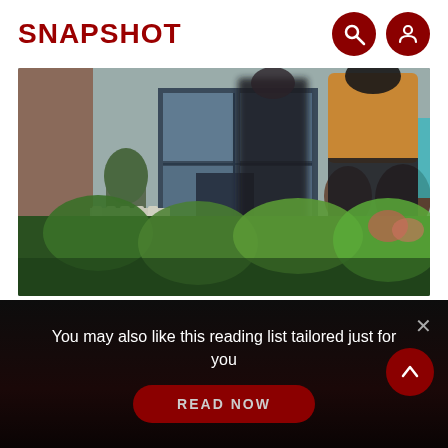SNAPSHOT
[Figure (photo): Street scene with motion-blurred pedestrians walking past a building entrance with plants and greenery in the foreground, illustrating a toy camera effect with bokeh/blur]
Toy camera effect
Compared to the normal shot, there is a
You may also like this reading list tailored just for you
READ NOW